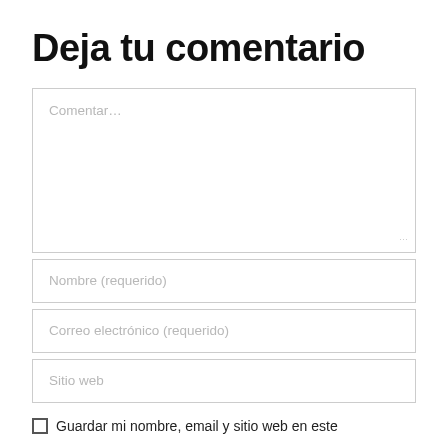Deja tu comentario
[Figure (screenshot): Web comment form with textarea placeholder 'Comentar...', input fields for 'Nombre (requerido)', 'Correo electrónico (requerido)', 'Sitio web', and a checkbox row reading 'Guardar mi nombre, email y sitio web en este']